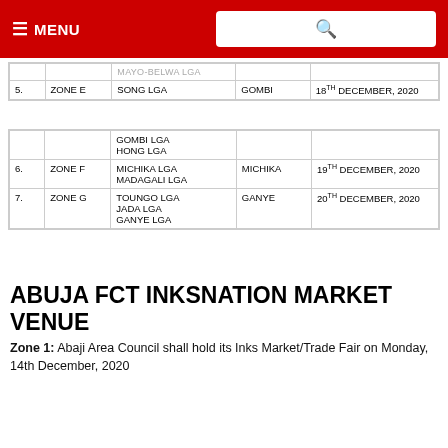≡ MENU  [search]
|  |  | LGA | VENUE | DATE |
| --- | --- | --- | --- | --- |
|  |  | MAYO-BELWA LGA |  |  |
| 5. | ZONE E | SONG LGA | GOMBI | 18TH DECEMBER, 2020 |
|  |  | GOMBI LGA
HONG LGA |  |  |
| 6. | ZONE F | MICHIKA LGA
MADAGALI LGA | MICHIKA | 19TH DECEMBER, 2020 |
| 7. | ZONE G | TOUNGO LGA
JADA LGA
GANYE LGA | GANYE | 20TH DECEMBER, 2020 |
ABUJA FCT INKSNATION MARKET VENUE
Zone 1: Abaji Area Council shall hold its Inks Market/Trade Fair on Monday, 14th December, 2020